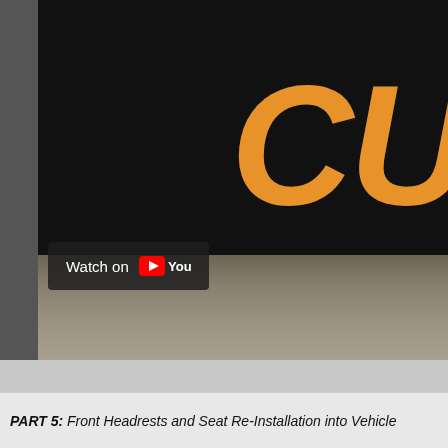[Figure (screenshot): A YouTube video thumbnail showing a close-up of a dark/black object with large orange bold italic letters 'CU' partially visible on the right side, and a blurred gray surface at the bottom. A 'Watch on YouTube' overlay button is visible in the lower-left of the video frame.]
PART 5: Front Headrests and Seat Re-Installation into Vehicle